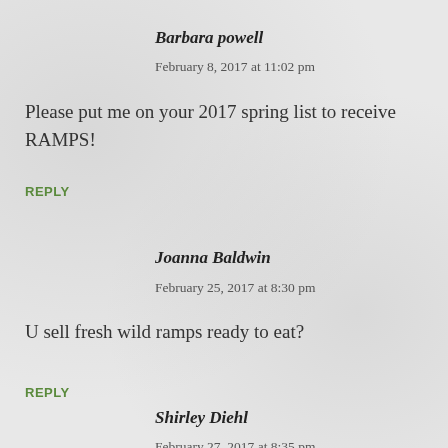Barbara powell
February 8, 2017 at 11:02 pm
Please put me on your 2017 spring list to receive RAMPS!
REPLY
Joanna Baldwin
February 25, 2017 at 8:30 pm
U sell fresh wild ramps ready to eat?
REPLY
Shirley Diehl
February 27, 2017 at 8:35 pm